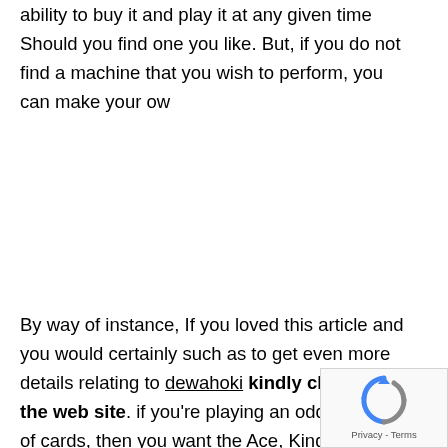ability to buy it and play it at any given time Should you find one you like. But, if you do not find a machine that you wish to perform, you can make your ow
By way of instance, If you loved this article and you would certainly such as to get even more details relating to dewahoki kindly check out the web site. if you're playing an odd number of cards, then you want the Ace, King, Queen, Jack, and 10 card shuffle. That will cost you quite a lot of money, although you may have the ability to find a shuffler. You might also need an organize
[Figure (other): reCAPTCHA logo with Privacy - Terms text]